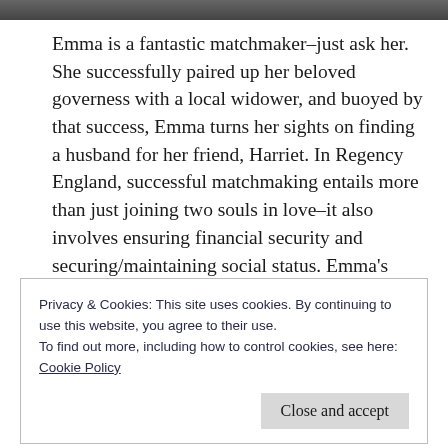[Figure (photo): Partial image strip at the top of the page, appears to be a dark/landscape photo cropped to a thin horizontal strip]
Emma is a fantastic matchmaker–just ask her. She successfully paired up her beloved governess with a local widower, and buoyed by that success, Emma turns her sights on finding a husband for her friend, Harriet. In Regency England, successful matchmaking entails more than just joining two souls in love–it also involves ensuring financial security and securing/maintaining social status. Emma's
Privacy & Cookies: This site uses cookies. By continuing to use this website, you agree to their use.
To find out more, including how to control cookies, see here:
Cookie Policy
Lots. Lots could go wrong.